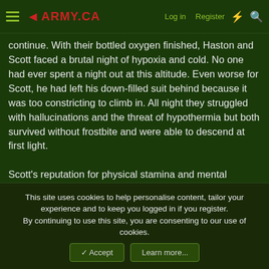≡ ◄ARMY.CA   Log in   Register   ⚡ 🔍
continue. With their bottled oxygen finished, Haston and Scott faced a brutal night of hypoxia and cold. No one had ever spent a night out at this altitude. Even worse for Scott, he had left his down-filled suit behind because it was too constricting to climb in. All night they struggled with hallucinations and the threat of hypothermia but both survived without frostbite and were able to descend at first light.

Scott's reputation for physical stamina and mental strength was only enhanced two years later following the first ascent, this time with Bonington, of the fearsome Karakoram peak known as the Ogre. Abseiling from the summit, Scott slipped and swung into a rock wall, breaking both his legs. Marooned at 7,200 metres with no possibility of rescue, on a mountain of considerable difficulty, Scott crawled on his knees back to base camp through a storm.
This site uses cookies to help personalise content, tailor your experience and to keep you logged in if you register.
By continuing to use this site, you are consenting to our use of cookies.
✓ Accept   Learn more...